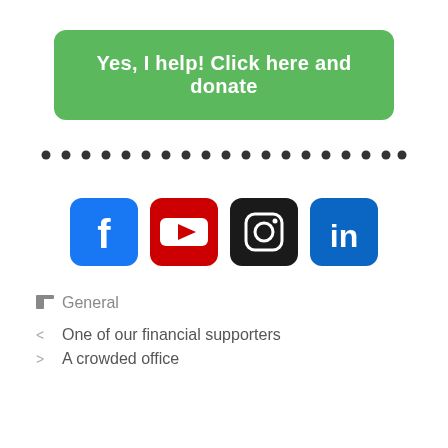Yes, I help! Click here and donate
[Figure (infographic): Dotted horizontal divider line]
[Figure (infographic): Social media icons: Facebook, YouTube, Instagram, LinkedIn]
General
One of our financial supporters
A crowded office